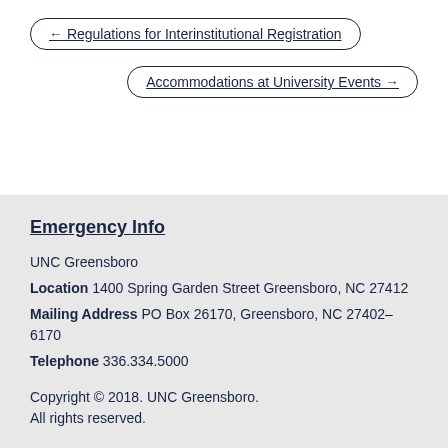← Regulations for Interinstitutional Registration
Accommodations at University Events →
Emergency Info
UNC Greensboro
Location 1400 Spring Garden Street Greensboro, NC 27412
Mailing Address PO Box 26170, Greensboro, NC 27402–6170
Telephone 336.334.5000
Copyright © 2018. UNC Greensboro.
All rights reserved.